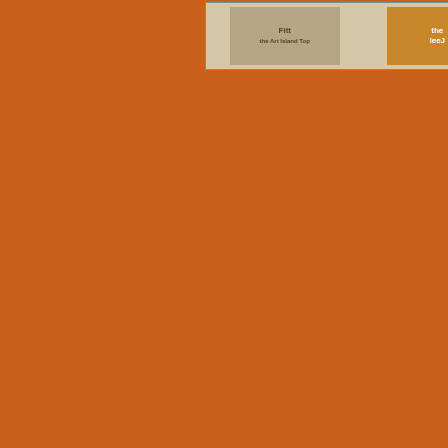[Figure (other): Banner advertisement with album/promotional images including text 'UNIVERSAL URBAN.COM' and 'www.prymetyme.com']
THE ...
Thu. ...
Plane...
Sánd...
ENIG...
PROD...
premi...
FALL ...
ska w...
Featu...
SMAS...
LOS ...
& ZS...
comp...
all go...
Nove...
$12 i...
Reco...
Reco...
A mix...
R&B ...
Fri. S...
Gree...
Come...
2003 ...
a mix...